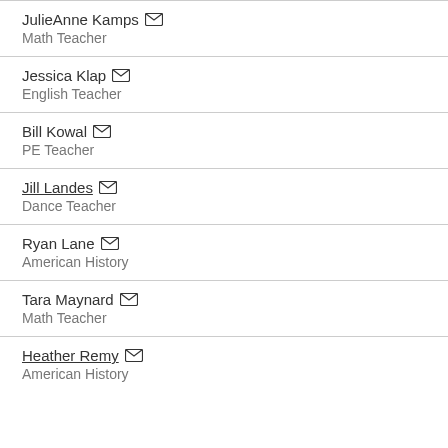JulieAnne Kamps | Math Teacher
Jessica Klap | English Teacher
Bill Kowal | PE Teacher
Jill Landes | Dance Teacher
Ryan Lane | American History
Tara Maynard | Math Teacher
Heather Remy | American History